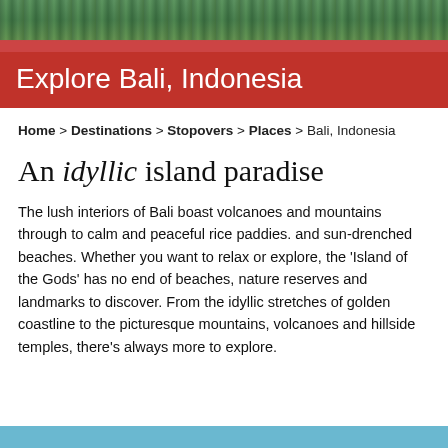[Figure (photo): Landscape photo strip showing green tropical foliage/trees, partially visible at the top of the page]
Explore Bali, Indonesia
Home > Destinations > Stopovers > Places > Bali, Indonesia
An idyllic island paradise
The lush interiors of Bali boast volcanoes and mountains through to calm and peaceful rice paddies. and sun-drenched beaches. Whether you want to relax or explore, the 'Island of the Gods' has no end of beaches, nature reserves and landmarks to discover. From the idyllic stretches of golden coastline to the picturesque mountains, volcanoes and hillside temples, there's always more to explore.
[Figure (photo): Light blue strip visible at the bottom of the page, partial view of another section]